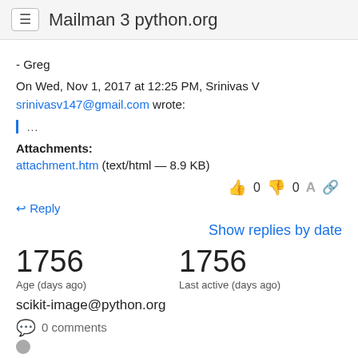Mailman 3 python.org
- Greg
On Wed, Nov 1, 2017 at 12:25 PM, Srinivas V srinivasv147@gmail.com wrote:
...
Attachments:
attachment.htm (text/html — 8.9 KB)
👍 0  👎 0
↩ Reply
Show replies by date
1756
Age (days ago)
1756
Last active (days ago)
scikit-image@python.org
0 comments